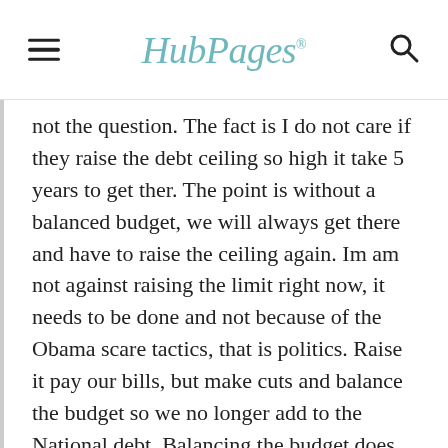HubPages
not the question. The fact is I do not care if they raise the debt ceiling so high it take 5 years to get ther. The point is without a balanced budget, we will always get there and have to raise the ceiling again. Im am not against raising the limit right now, it needs to be done and not because of the Obama scare tactics, that is politics. Raise it pay our bills, but make cuts and balance the budget so we no longer add to the National debt. Balancing the budget does not pay off the debt, but it keeps it from growing and Congress can stop wasting time over partisan politics or worrying about elections and use that time to do the peoples busuness, as they were elected to do. Maybe if they were not so involed in this, maybe they could have addressed the FAA situation and tens